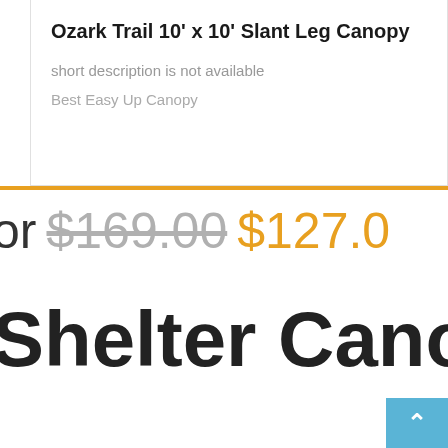[Figure (other): Diagonal line decoration in top-right corner of card]
Ozark Trail 10' x 10' Slant Leg Canopy
short description is not available
Best Easy Up Canopy
or $169.00 $127.0
Shelter Canopy, 1